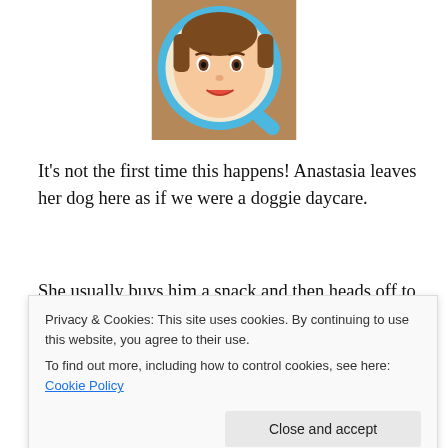[Figure (illustration): Cartoon avatar of a young woman with brown hair, viewed through a magnifying glass with a blue handle, on a wooden background.]
It's not the first time this happens! Anastasia leaves her dog here as if we were a doggie daycare.
She usually buys him a snack and then heads off to go shopping.
Sometimes there's no problem, but usually Prince Charming becomes totally bored after a while. Then he runs around and pushes everything over! I haven't even
Privacy & Cookies: This site uses cookies. By continuing to use this website, you agree to their use.
To find out more, including how to control cookies, see here: Cookie Policy
could just pick up everything, I'll wash the dishes later.